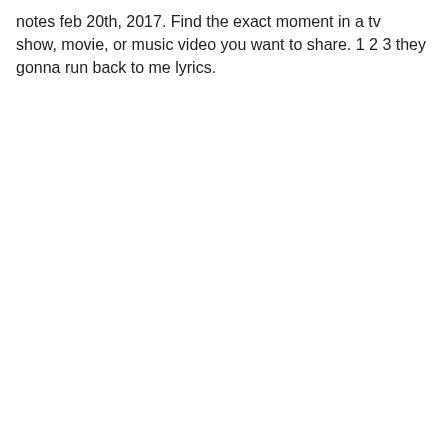notes feb 20th, 2017. Find the exact moment in a tv show, movie, or music video you want to share. 1 2 3 they gonna run back to me lyrics.